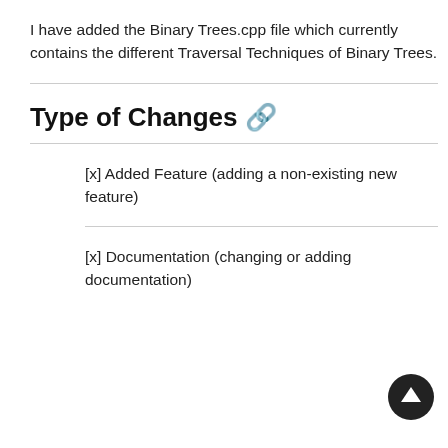I have added the Binary Trees.cpp file which currently contains the different Traversal Techniques of Binary Trees.
Type of Changes 🔗
[x] Added Feature (adding a non-existing new feature)
[x] Documentation (changing or adding documentation)